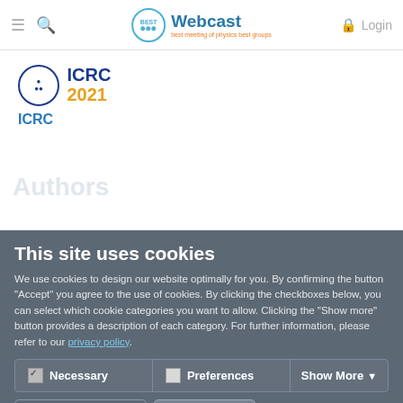≡  🔍  Webcast  Login
[Figure (logo): ICRC 2021 logo with circular emblem]
ICRC
This site uses cookies
We use cookies to design our website optimally for you. By confirming the button "Accept" you agree to the use of cookies. By clicking the checkboxes below, you can select which cookie categories you want to allow. Clicking the "Show more" button provides a description of each category. For further information, please refer to our privacy policy.
Necessary   Preferences   Show More
Agree to selection   Agree to all
Uploaded on: June 25, 2021
Discussion Time Slot (ZOOM Meeting): 13 July 2021
ZOOM Meeting URL:
ZOOM Meeting ID: 918965 50007